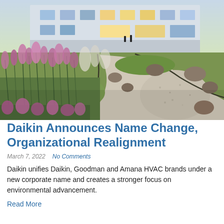🛒 🔍
[Figure (photo): Exterior photo of a modern building with a landscaped garden featuring ornamental grasses with pink and purple plumes, green lawn, gravel pathways with curved stone borders, and large rocks. The building facade is visible in the background with illuminated windows.]
Daikin Announces Name Change, Organizational Realignment
March 7, 2022   No Comments
Daikin unifies Daikin, Goodman and Amana HVAC brands under a new corporate name and creates a stronger focus on environmental advancement.
Read More